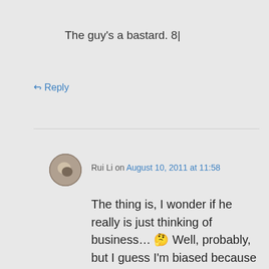The guy's a bastard. 8|
↳ Reply
Rui Li on August 10, 2011 at 11:58
The thing is, I wonder if he really is just thinking of business… 🤔 Well, probably, but I guess I'm biased because I like him as a character,
Privacy & Cookies: This site uses cookies. By continuing to use this website, you agree to their use.
To find out more, including how to control cookies, see here: Cookie Policy
Close and accept
messed with his memories yet